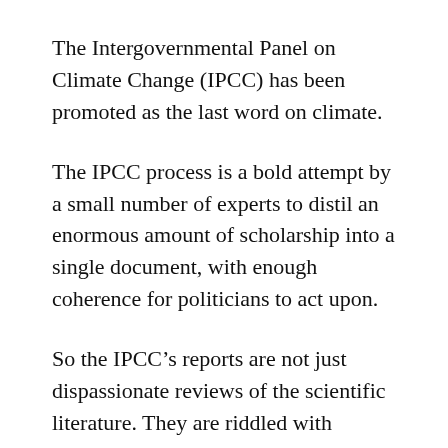The Intergovernmental Panel on Climate Change (IPCC) has been promoted as the last word on climate.
The IPCC process is a bold attempt by a small number of experts to distil an enormous amount of scholarship into a single document, with enough coherence for politicians to act upon.
So the IPCC’s reports are not just dispassionate reviews of the scientific literature. They are riddled with economic assumptions, political judgements, and ethical and moral assessments.